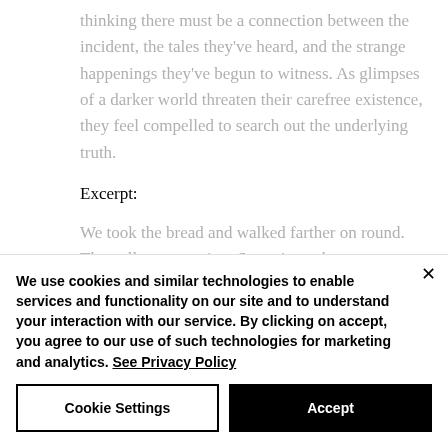thinking there must be a connection between the incident, the tales they've heard, and the strange happenings they've begun to witness. As glimpses of a darker world threaten their carefree existence, they feel compelled to search out the underlying truth.
Excerpt:
We took the bread and walked farther on round. The gulls were crying. Sometimes they
We use cookies and similar technologies to enable services and functionality on our site and to understand your interaction with our service. By clicking on accept, you agree to our use of such technologies for marketing and analytics. See Privacy Policy
Cookie Settings
Accept